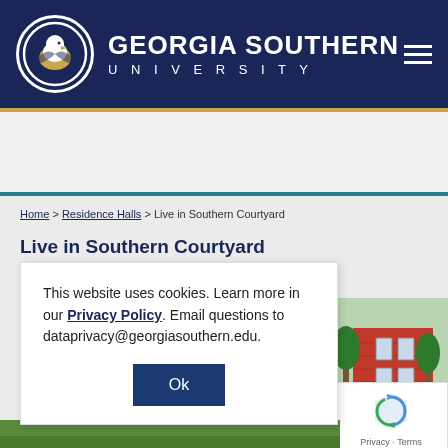[Figure (logo): Georgia Southern University logo with eagle in circle and university name]
University Housing
Home > Residence Halls > Live in Southern Courtyard
Live in Southern Courtyard
This website uses cookies. Learn more in our Privacy Policy. Email questions to dataprivacy@georgiasouthern.edu.
[Figure (photo): Exterior photo of a brick residence hall building with trees]
[Figure (other): reCAPTCHA verification widget]